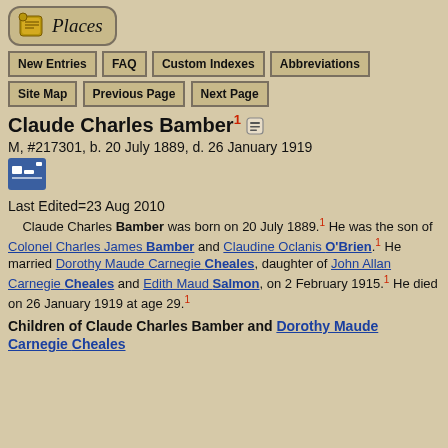[Figure (logo): Places logo with icon in rounded rectangle]
New Entries | FAQ | Custom Indexes | Abbreviations | Site Map | Previous Page | Next Page
Claude Charles Bamber
M, #217301, b. 20 July 1889, d. 26 January 1919
[Figure (other): Family chart icon (blue square with chart symbol)]
Last Edited=23 Aug 2010
Claude Charles Bamber was born on 20 July 1889. He was the son of Colonel Charles James Bamber and Claudine Oclanis O'Brien. He married Dorothy Maude Carnegie Cheales, daughter of John Allan Carnegie Cheales and Edith Maud Salmon, on 2 February 1915. He died on 26 January 1919 at age 29.
Children of Claude Charles Bamber and Dorothy Maude Carnegie Cheales